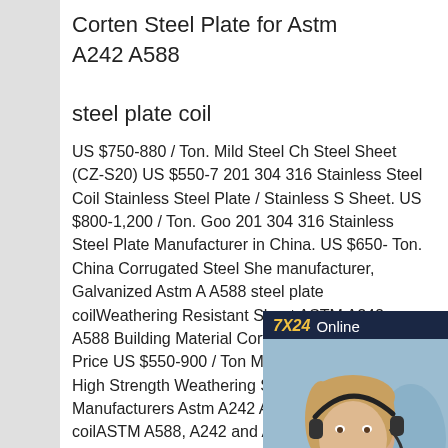Corten Steel Plate for Astm A242 A588 steel plate coil
US $750-880 / Ton. Mild Steel Ch Steel Sheet (CZ-S20) US $550-7 201 304 316 Stainless Steel Coil Stainless Steel Plate / Stainless S Sheet. US $800-1,200 / Ton. Goo 201 304 316 Stainless Steel Plate Manufacturer in China. US $650- Ton. China Corrugated Steel She manufacturer, Galvanized Astm A A588 steel plate coilWeathering Resistant Sheet ASTM A242 A588 Building Material Corten Steel Plate FOB Price US $550-900 / Ton Min. Order 5 Tons China High Strength Weathering Steel Plate Manufacturers Astm A242 A588 steel plate coilASTM A588, A242 and A709
[Figure (photo): Chat widget with woman wearing headset, 7X24 Online label, Hello may I help you text, and Get Latest Price button]